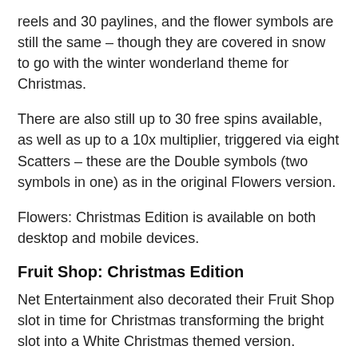reels and 30 paylines, and the flower symbols are still the same – though they are covered in snow to go with the winter wonderland theme for Christmas.
There are also still up to 30 free spins available, as well as up to a 10x multiplier, triggered via eight Scatters – these are the Double symbols (two symbols in one) as in the original Flowers version.
Flowers: Christmas Edition is available on both desktop and mobile devices.
Fruit Shop: Christmas Edition
Net Entertainment also decorated their Fruit Shop slot in time for Christmas transforming the bright slot into a White Christmas themed version.
Once again, the slot remains the same as the original with 5 reels and 15 paylines, while the symbols are also